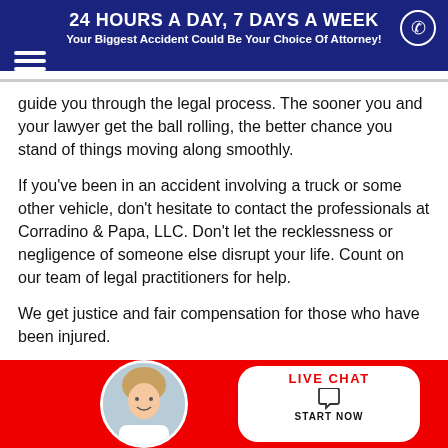24 HOURS A DAY, 7 DAYS A WEEK
Your Biggest Accident Could Be Your Choice Of Attorney!
guide you through the legal process. The sooner you and your lawyer get the ball rolling, the better chance you stand of things moving along smoothly.
If you've been in an accident involving a truck or some other vehicle, don't hesitate to contact the professionals at Corradino & Papa, LLC. Don't let the recklessness or negligence of someone else disrupt your life. Count on our team of legal practitioners for help.
We get justice and fair compensation for those who have been injured.
[Figure (screenshot): Live chat widget with female avatar and LIVE CHAT / START NOW button at bottom of page]